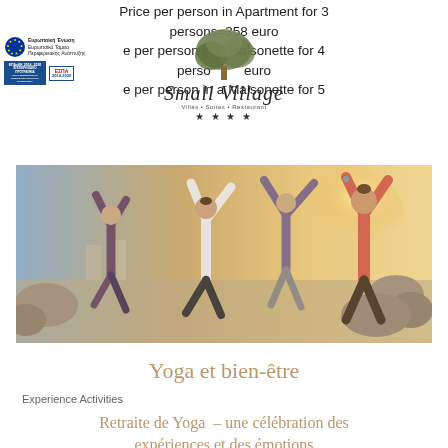Price per person in Apartment for 3 persons=358 euro
Price per person in a Maisonette for 4 persons=305 euro
Price per person in a Maisonette for 5 persons
[Figure (logo): European Union / ESPA funding logos with circular star emblem, ΕΠΑνΕΚ 2014-2020 and ΕΣΠΑ 2014-2020 badges]
[Figure (logo): Small Village logo with tree illustration, italic script text 'Small Village', subtitle 'Villas • Suites • Restaurant', four stars]
[Figure (photo): Group of people doing yoga on a beach/waterfront at sunset, arms raised, backlit warm light]
Yoga et bien-être
Experience Activities
Retraite de Yoga – une célébration des expériences et des émotions